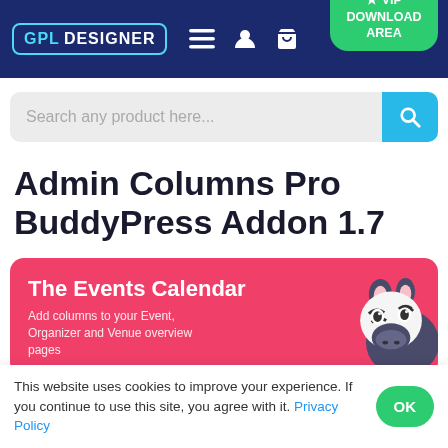GPL DESIGNER — VIP DOWNLOAD AREA
Search any product here...
Admin Columns Pro BuddyPress Addon 1.7
[Figure (illustration): Pink product card with The Events Calendar branding and a cartoon zebra mascot illustration]
The Events Calendar
Add columns to your Event, Organizer and Venue overview pages
This website uses cookies to improve your experience. If you continue to use this site, you agree with it. Privacy Policy | OK